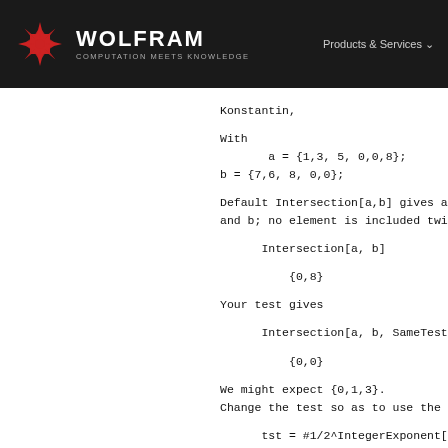[Figure (logo): Wolfram logo with red snowflake/star icon, WOLFRAM text and COMPUTATION MEETS KNOWLEDGE tagline, on dark background header with Products & Services nav]
Konstantin,

With
    a = {1,3, 5, 0,0,8};
b = {7,6, 8, 0,0};

Default Intersection[a,b] gives a
and b; no element is included twic

    Intersection[a, b]

        {0,8}

Your test gives

    Intersection[a, b, SameTest ->

        {0,0}

We might expect {0,1,3}.
Change the test so as to use the e

    tst = #1/2^IntegerExponent[#1,